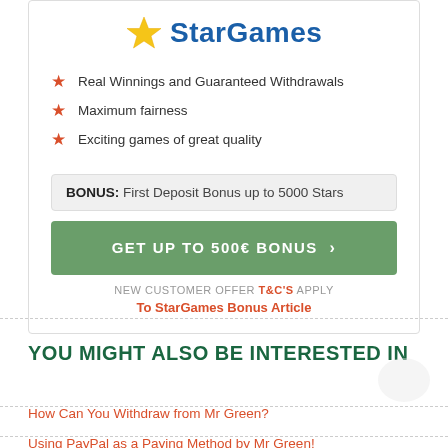[Figure (logo): StarGames logo with yellow star icon and blue bold text 'StarGames']
Real Winnings and Guaranteed Withdrawals
Maximum fairness
Exciting games of great quality
BONUS: First Deposit Bonus up to 5000 Stars
GET UP TO 500€ BONUS >
NEW CUSTOMER OFFER T&C'S APPLY
To StarGames Bonus Article
YOU MIGHT ALSO BE INTERESTED IN
How Can You Withdraw from Mr Green?
Using PayPal as a Paying Method by Mr Green!